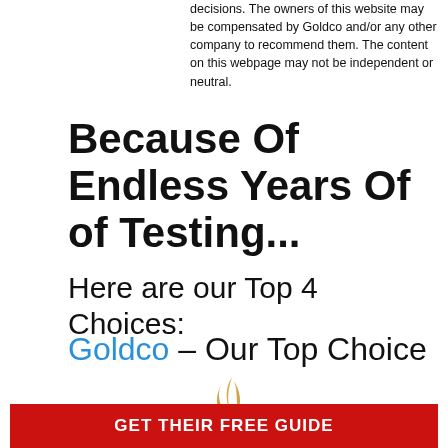decisions. The owners of this website may be compensated by Goldco and/or any other company to recommend them. The content on this webpage may not be independent or neutral.
Because Of Endless Years Of of Testing...
Here are our Top 4 Choices:
Goldco – Our Top Choice
[Figure (logo): Goldco logo with golden flame/feather graphic above the word GOLDCO in large serif font with registered trademark symbol]
GET THEIR FREE GUIDE